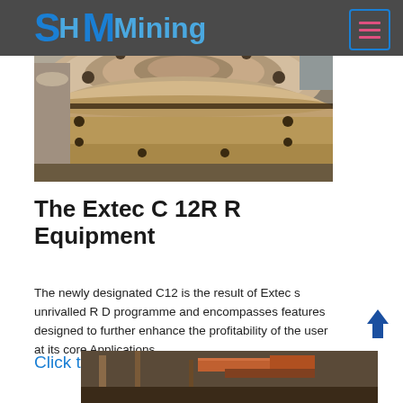SH MMining
[Figure (photo): Close-up photo of a large metal flange/coupling component, showing circular steel flanges with bolt holes, industrial equipment part in a workshop setting]
The Extec C 12R R Equipment
The newly designated C12 is the result of Extec s unrivalled R D programme and encompasses features designed to further enhance the profitability of the user at its core Applications
Click to chat
[Figure (photo): Partial view of industrial mining equipment, showing metal framework and components in a workshop]